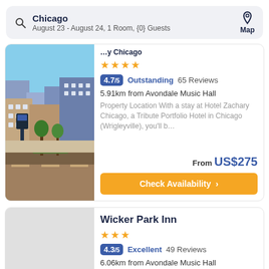Chicago — August 23 - August 24, 1 Room, {0} Guests
[Figure (photo): Aerial street view of Chicago neighborhood with modern buildings and landscaped plaza]
★★★★ 4.7/5 Outstanding 65 Reviews
5.91km from Avondale Music Hall
Property Location With a stay at Hotel Zachary Chicago, a Tribute Portfolio Hotel in Chicago (Wrigleyville), you'll b...
From US$275
Check Availability >
Wicker Park Inn
★★★ 4.3/5 Excellent 49 Reviews
6.06km from Avondale Music Hall
The Wicker Park Inn offers free WiFi
[Figure (photo): Wicker Park Inn exterior photo placeholder (grey)]